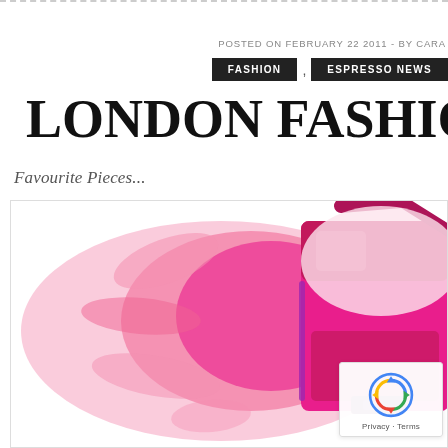POSTED ON FEBRUARY 22 2011 - BY CARA
FASHION , ESPRESSO NEWS
LONDON FASHIO
Favourite Pieces...
[Figure (photo): A bright pink/magenta backpack or bag with straps and buckles, shown against a pink watercolor paint splash background on a white canvas. The image is partially cropped on the right side. A reCAPTCHA privacy badge appears in the bottom right corner.]